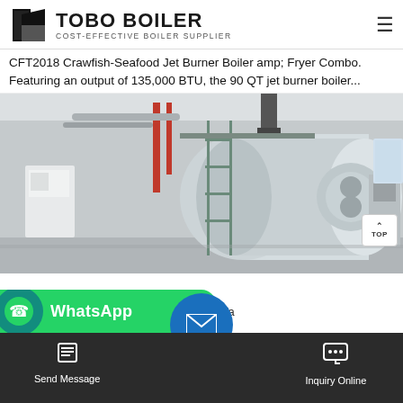TOBO BOILER — COST-EFFECTIVE BOILER SUPPLIER
CFT2018 Crawfish-Seafood Jet Burner Boiler amp; Fryer Combo. Featuring an output of 135,000 BTU, the 90 QT jet burner boiler...
[Figure (photo): Industrial boiler room with a large horizontal cylindrical boiler tank, scaffolding/ladder structure, red and silver pipes on ceiling, and additional equipment. TOP button visible in lower right.]
WhatsApp
fa...
king up
Send Message | [envelope icon] | Inquiry Online